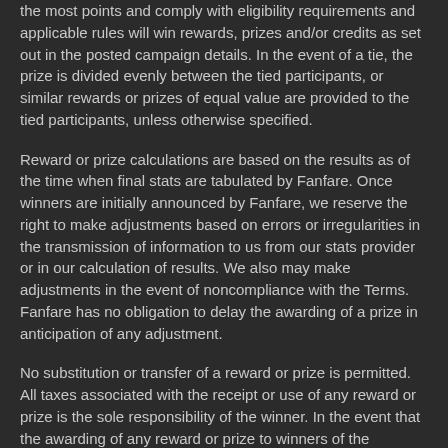the most points and comply with eligibility requirements and applicable rules will win rewards, prizes and/or credits as set out in the posted campaign details. In the event of a tie, the prize is divided evenly between the tied participants, or similar rewards or prizes of equal value are provided to the tied participants, unless otherwise specified.
Reward or prize calculations are based on the results as of the time when final stats are tabulated by Fanfare. Once winners are initially announced by Fanfare, we reserve the right to make adjustments based on errors or irregularities in the transmission of information to us from our stats provider or in our calculation of results. We also may make adjustments in the event of noncompliance with the Terms. Fanfare has no obligation to delay the awarding of a prize in anticipation of any adjustment.
No substitution or transfer of a reward or prize is permitted. All taxes associated with the receipt or use of any reward or prize is the sole responsibility of the winner. In the event that the awarding of any reward or prize to winners of the campaign is challenged by any legal authority, Fanfare reserves the right in its sole discretion to determine whether or not to award or adjust such rewards or prizes. In all disputes arising out of the determination of the winner of Fanfare campaigns, Fanfare is the sole judge and its actions are final and binding.